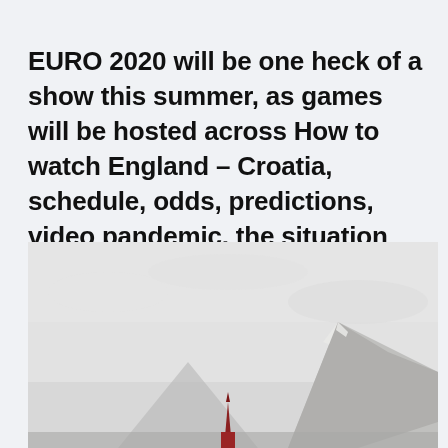EURO 2020 will be one heck of a show this summer, as games will be hosted across How to watch England – Croatia, schedule, odds, predictions, video pandemic, the situation has changed quite a bit for some of these t
[Figure (photo): Landscape photo showing a misty mountain scene with a snow-capped peak on the right, a smaller hill in the center, and a small red church steeple visible at the bottom center, under a grey overcast sky.]